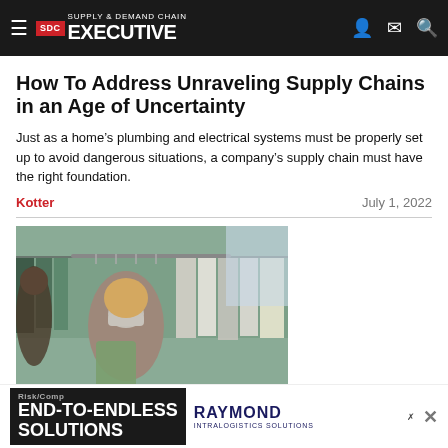Supply & Demand Chain Executive
How To Address Unraveling Supply Chains in an Age of Uncertainty
Just as a home's plumbing and electrical systems must be properly set up to avoid dangerous situations, a company's supply chain must have the right foundation.
Kotter · July 1, 2022
[Figure (photo): Woman wearing a face mask browsing clothing on racks in a retail store]
Risk/Comp... END-TO-ENDLESS SOLUTIONS · RAYMOND INTRALOGISTICS SOLUTIONS
More T... l Go